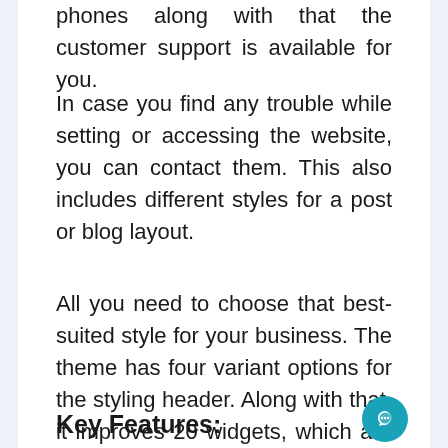phones along with that the customer support is available for you.
In case you find any trouble while setting or accessing the website, you can contact them. This also includes different styles for a post or blog layout.
All you need to choose that best-suited style for your business. The theme has four variant options for the styling header. Along with that, it improves 20 widgets, which are supportable and good to go.
Key Features: